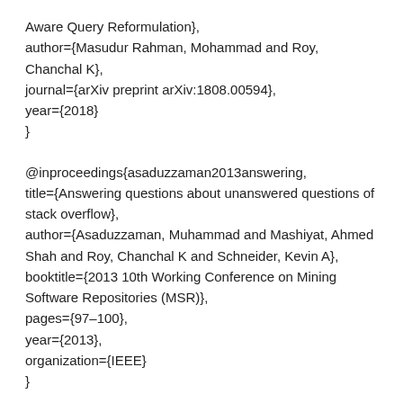Aware Query Reformulation},
author={Masudur Rahman, Mohammad and Roy, Chanchal K},
journal={arXiv preprint arXiv:1808.00594},
year={2018}
}
@inproceedings{asaduzzaman2013answering,
title={Answering questions about unanswered questions of stack overflow},
author={Asaduzzaman, Muhammad and Mashiyat, Ahmed Shah and Roy, Chanchal K and Schneider, Kevin A},
booktitle={2013 10th Working Conference on Mining Software Repositories (MSR)},
pages={97–100},
year={2013},
organization={IEEE}
}